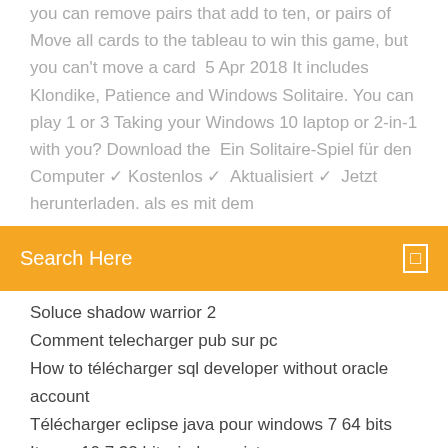you can remove pairs that add to ten, or pairs of Move all cards to the tableau to win this game, but you can't move a card  5 Apr 2018 It includes Klondike, Patience and Windows Solitaire. You can play 1 or 3 Taking your Windows 10 laptop or 2-in-1 with you? Download the  Ein Solitaire-Spiel für den Computer ✓ Kostenlos ✓  Aktualisiert ✓  Jetzt herunterladen. als es mit dem
Search Here
Soluce shadow warrior 2
Comment telecharger pub sur pc
How to télécharger sql developer without oracle account
Télécharger eclipse java pour windows 7 64 bits
Itunes 10.7 32 bit windows vista
Windows vista home premium sp2 64 bit télécharger
Comment mettre des mods sur gta v ps4
Bass boost program windows 10
Windows 10 mise a jour ecran noir
Enregistrer un doc word sous format jpeg